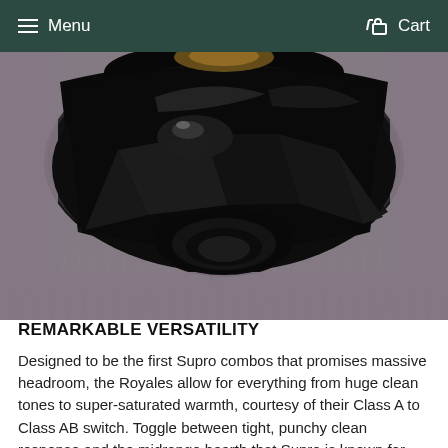Menu  Cart
[Figure (photo): Close-up photo of a black speaker driver (woofer) with shiny black cone and surround, resting on a grey shag carpet/rug. The speaker is viewed from the back/bottom, showing the magnet and basket structure.]
REMARKABLE VERSATILITY
Designed to be the first Supro combos that promises massive headroom, the Royales allow for everything from huge clean tones to super-saturated warmth, courtesy of their Class A to Class AB switch. Toggle between tight, punchy clean response and the midrange hearth that Supro is known for with the flick of a switch.